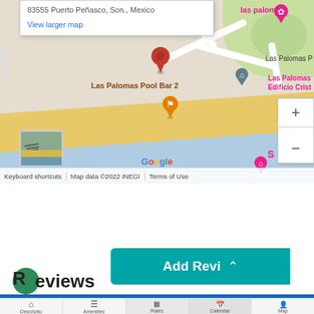[Figure (map): Google Maps screenshot showing Las Palomas Pool Bar 2 location near a beach in Puerto Peñasco, Son., Mexico. Shows red pin marker, orange drink marker, pink hotel markers, zoom controls, Google logo, and map attribution bar. Partial popup shows address 83555 Puerto Peñasco, Son., Mexico with View larger map link.]
83555 Puerto Peñasco, Son., Mexico
View larger map
Las Palomas Pool Bar 2
las palomas
Las Palomas P
Las Palomas Edificio Crist
Google
Keyboard shortcuts
Map data ©2022 INEGI
Terms of Use
Add Revi
Reviews
Descriptio
Amenities
Rates
Calendar
Map